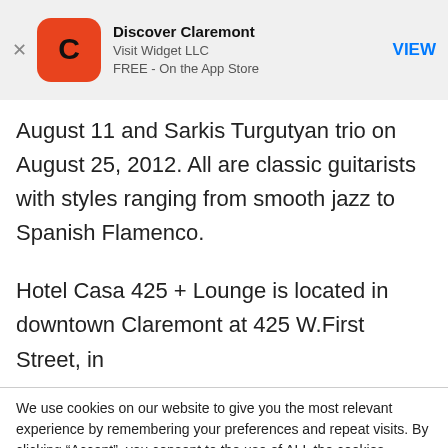[Figure (screenshot): App Store banner for Discover Claremont app by Visit Widget LLC, FREE on the App Store, with orange icon showing letter C, and VIEW button in blue]
August 11 and Sarkis Turgutyan trio on August 25, 2012. All are classic guitarists with styles ranging from smooth jazz to Spanish Flamenco.
Hotel Casa 425 + Lounge is located in downtown Claremont at 425 W.First Street, in
We use cookies on our website to give you the most relevant experience by remembering your preferences and repeat visits. By clicking “Accept”, you consent to the use of ALL the cookies.
Do not sell my personal information